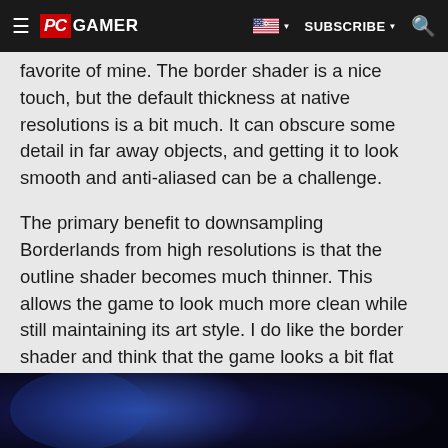PC GAMER | SUBSCRIBE
favorite of mine. The border shader is a nice touch, but the default thickness at native resolutions is a bit much. It can obscure some detail in far away objects, and getting it to look smooth and anti-aliased can be a challenge.
The primary benefit to downsampling Borderlands from high resolutions is that the outline shader becomes much thinner. This allows the game to look much more clean while still maintaining its art style. I do like the border shader and think that the game looks a bit flat without it, so I'll never go as far as to turn that off in the config files.
Here are two comparisons that show playing at native
[Figure (photo): Destiny 2 Lightfall advertisement banner with PRE-ORDER NOW button and TEEN rating]